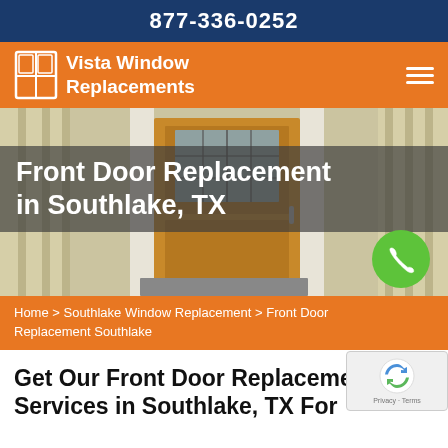877-336-0252
[Figure (logo): Vista Window Replacements logo with window icon on orange background and hamburger menu icon]
[Figure (photo): Front door of a house - wooden door with glass panel, siding exterior, with overlaid title text and green phone call button]
Front Door Replacement in Southlake, TX
Home > Southlake Window Replacement > Front Door Replacement Southlake
Get Our Front Door Replacement Services in Southlake, TX For